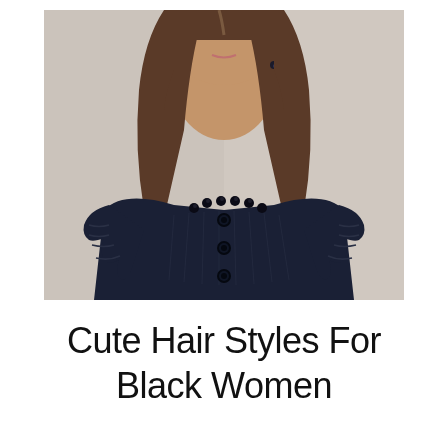[Figure (photo): A woman with straight brown hair, wearing a dark navy sleeveless top with ruffled cap sleeves, a beaded neckline, and black buttons down the front. The background is light gray/beige.]
Cute Hair Styles For Black Women